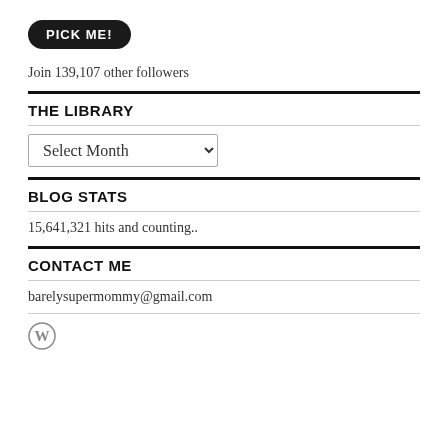[Figure (other): Black rounded rectangle button with white bold text 'PICK ME!']
Join 139,107 other followers
THE LIBRARY
[Figure (other): Dropdown select menu labeled 'Select Month']
BLOG STATS
15,641,321 hits and counting..
CONTACT ME
barelysupermommy@gmail.com
[Figure (logo): WordPress circular logo icon]